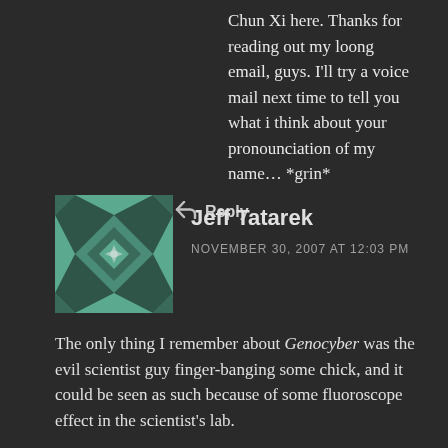Chun Xi here. Thanks for reading out my loong email, guys. I'll try a voice mail next time to tell you what i think about your pronounciation of my name... *grin*
Reply
Jeff Tatarek
NOVEMBER 30, 2007 AT 12:03 PM
The only thing I remember about Genocyber was the evil scientist guy finger-banging some chick, and it could be seen as such because of some fluoroscope effect in the scientist's lab.
Good times!
Reply